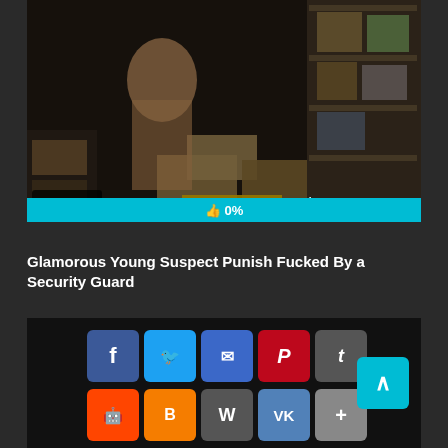[Figure (screenshot): Video thumbnail showing a person in a storage room with shelves and boxes, with view count '5' and duration '21:41:40' overlaid, and a 'THI' watermark. Below is a cyan progress bar showing '0%'.]
Glamorous Young Suspect Punish Fucked By a Security Guard
[Figure (screenshot): Social sharing panel with icons for Facebook, Twitter, Email, Pinterest, Tumblr (top row), Reddit, Blogger, WordPress, VK, More (bottom row), and a cyan scroll-to-top arrow button on the right.]